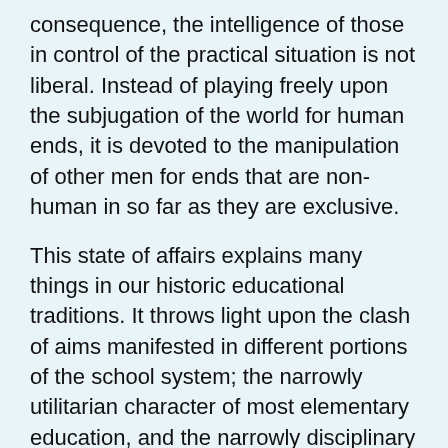consequence, the intelligence of those in control of the practical situation is not liberal. Instead of playing freely upon the subjugation of the world for human ends, it is devoted to the manipulation of other men for ends that are non-human in so far as they are exclusive.
This state of affairs explains many things in our historic educational traditions. It throws light upon the clash of aims manifested in different portions of the school system; the narrowly utilitarian character of most elementary education, and the narrowly disciplinary or cultural character of most higher education. It accounts for the tendency to isolate intellectual matters till knowledge is scholastic, academic,